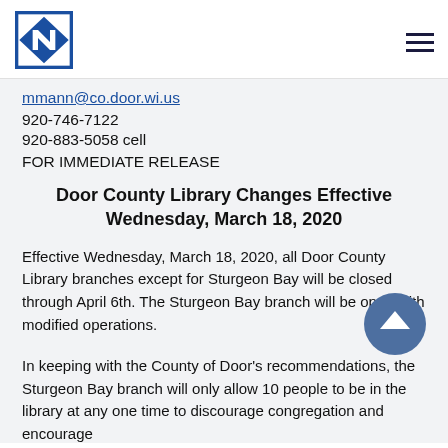Door County Government logo and navigation menu
mmann@co.door.wi.us
920-746-7122
920-883-5058 cell
FOR IMMEDIATE RELEASE
Door County Library Changes Effective Wednesday, March 18, 2020
Effective Wednesday, March 18, 2020, all Door County Library branches except for Sturgeon Bay will be closed through April 6th. The Sturgeon Bay branch will be open with modified operations.
In keeping with the County of Door's recommendations, the Sturgeon Bay branch will only allow 10 people to be in the library at any one time to discourage congregation and encourage